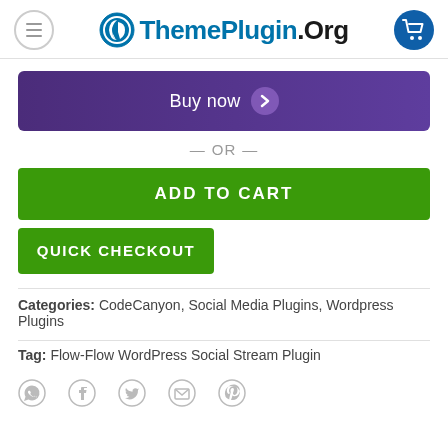ThemePlugin.Org
[Figure (screenshot): Buy now button with purple gradient background and chevron icon]
— OR —
[Figure (screenshot): ADD TO CART green button]
[Figure (screenshot): QUICK CHECKOUT green button]
Categories: CodeCanyon, Social Media Plugins, Wordpress Plugins
Tag: Flow-Flow WordPress Social Stream Plugin
[Figure (screenshot): Social share icons: WhatsApp, Facebook, Twitter, Email, Pinterest]